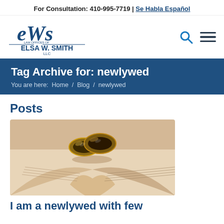For Consultation: 410-995-7719 | Se Habla Español
[Figure (logo): Law Offices of Elsa W. Smith LLC logo with stylized 'eWs' script and search/menu icons]
Tag Archive for: newlywed
You are here: Home / Blog / newlywed
Posts
[Figure (photo): Two wedding rings resting on an open book with pages forming a heart shape]
I am a newlywed with few